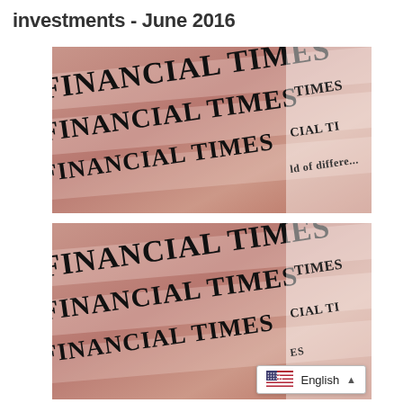investments - June 2016
[Figure (photo): Stacked copies of the Financial Times newspaper, showing the masthead text 'FINANCIAL TIMES' in black on salmon/pink newsprint, photographed at an angle]
[Figure (photo): Second instance of the same Financial Times newspaper photo — stacked copies showing the masthead at an angle, salmon/pink newsprint]